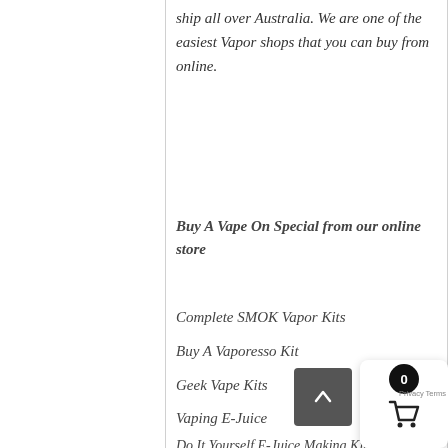ship all over Australia. We are one of the easiest Vapor shops that you can buy from online.
Buy A Vape On Special from our online store
Complete SMOK Vapor Kits
Buy A Vaporesso Kit
Geek Vape Kits
Vaping E-Juice
Do It Yourself E-Juice Making Kits